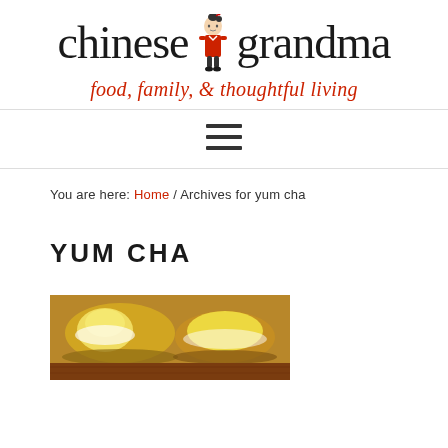[Figure (logo): Chinese Grandma website logo with illustrated grandma character between 'chinese' and 'grandma' text, with tagline 'food, family, & thoughtful living' in red italic below]
[Figure (other): Hamburger menu icon with three horizontal lines]
You are here: Home / Archives for yum cha
YUM CHA
[Figure (photo): Photo of steamed dim sum / custard buns in bamboo steamer baskets on a wooden surface]